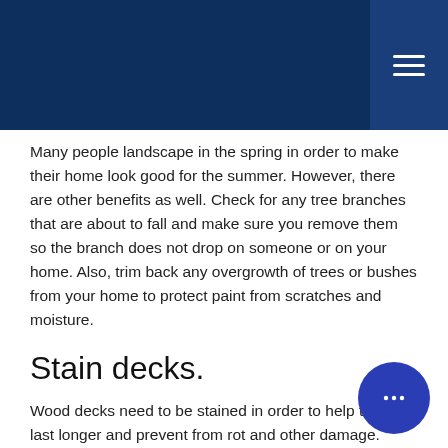Many people landscape in the spring in order to make their home look good for the summer. However, there are other benefits as well. Check for any tree branches that are about to fall and make sure you remove them so the branch does not drop on someone or on your home. Also, trim back any overgrowth of trees or bushes from your home to protect paint from scratches and moisture.
Stain decks.
Wood decks need to be stained in order to help them last longer and prevent from rot and other damage. They should be stained every 6 years especially if uncovered.
Repair driveway.